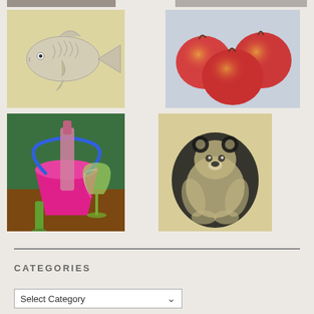[Figure (illustration): Partially visible row of two images at the top of the page, cropped]
[Figure (illustration): Pencil drawing of a fish on yellowish background]
[Figure (illustration): Colored pencil drawing of three red-green apples on blue-grey background]
[Figure (illustration): Pastel drawing of a pink bucket with wine bottle, shovel, and wine glass on green background]
[Figure (illustration): Charcoal drawing of a teddy bear on cream background]
CATEGORIES
Select Category